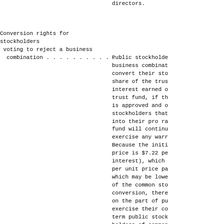directors.
Conversion rights for stockholders voting to reject a business combination . . . . . . . . . . . .
Public stockholde business combinat convert their sto share of the trus interest earned o trust fund, if th is approved and o stockholders that into their pro ra fund will continu exercise any warr Because the initi price is $7.22 pe interest), which per unit price pa which may be lowe of the common sto conversion, there on the part of pu exercise their co term public stock holders of common the units in this open market, incl stockholders to f